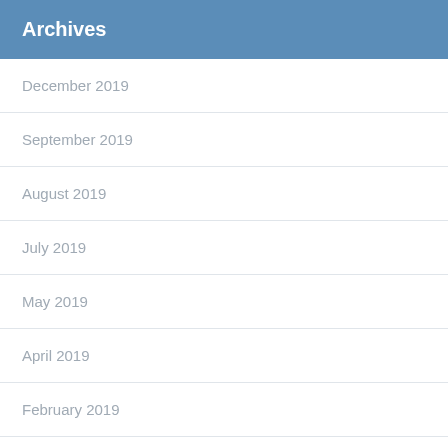Archives
December 2019
September 2019
August 2019
July 2019
May 2019
April 2019
February 2019
January 2019